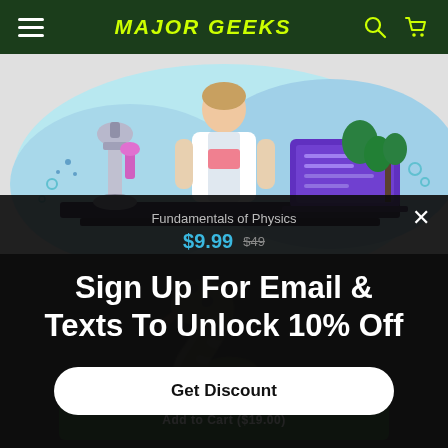MAJOR GEEKS
[Figure (illustration): Illustration of a scientist/researcher at a desk with microscope on left and laptop on right, colorful blue and purple tones]
Fundamentals of Physics
$9.99  $49
Sign Up For Email & Texts To Unlock 10% Off
Get Discount
Add to Cart ($19.00)